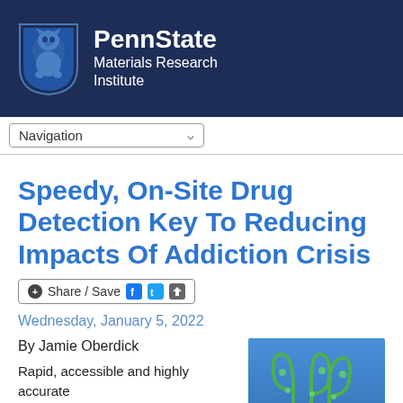[Figure (logo): Penn State Materials Research Institute header with lion shield logo, white text on dark navy background]
Navigation
Speedy, On-Site Drug Detection Key To Reducing Impacts Of Addiction Crisis
Share / Save
Wednesday, January 5, 2022
By Jamie Oberdick
Rapid, accessible and highly accurate detection of addictive substances and
[Figure (photo): Green wire/electrode structure on blue and yellow background, likely a drug detection sensor device]